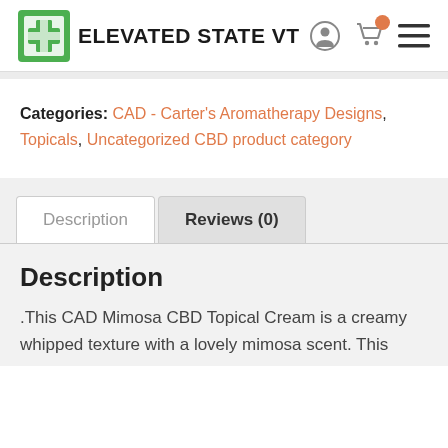ELEVATED STATE VT
Categories: CAD - Carter's Aromatherapy Designs, Topicals, Uncategorized CBD product category
Description
.This CAD Mimosa CBD Topical Cream is a creamy whipped texture with a lovely mimosa scent. This